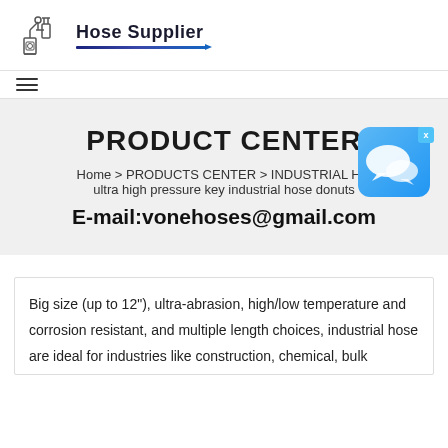Hose Supplier
PRODUCT CENTER
Home > PRODUCTS CENTER > INDUSTRIAL H... ultra high pressure key industrial hose donuts
E-mail:vonehoses@gmail.com
[Figure (illustration): Chat bubble widget with blue gradient background and speech bubble icons, with close X button]
Big size (up to 12"), ultra-abrasion, high/low temperature and corrosion resistant, and multiple length choices, industrial hose are ideal for industries like construction, chemical, bulk